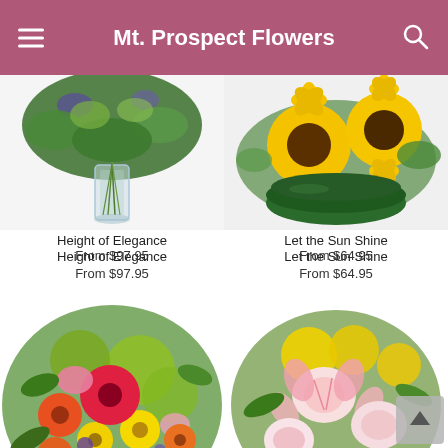Mt. Prospect Flowers
[Figure (photo): Tall glass vase arrangement with greenery and purple flowers - Height of Elegance]
Height of Elegance
From $97.95
[Figure (photo): Yellow sunflowers in a green bowl - Let the Sun Shine]
Let the Sun Shine
From $64.95
[Figure (photo): Colorful mixed flower bouquet with orange, red, pink, yellow, and green flowers]
[Figure (photo): Mixed alstroemeria and yellow flower bouquet with pink and white flowers]